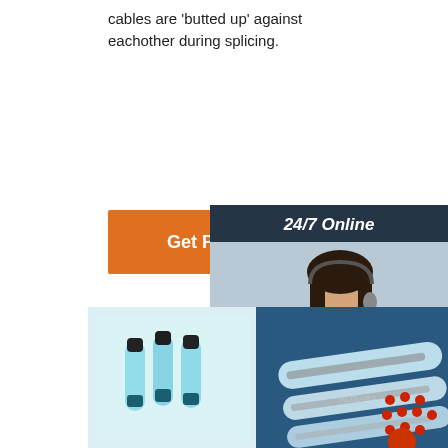cables are 'butted up' against eachother during splicing.
[Figure (other): Orange 'Get Price' button]
[Figure (other): 24/7 Online chat banner with customer service representative photo and QUOTATION button]
[Figure (photo): Adhesive Heat Shrink Butt Splice connectors - small blue tubular connectors with black ends]
[Figure (photo): Butt Connectors for sale - heat shrink crimp connectors on blue background]
Adhesive Heat Shrink Butt Splice
Butt Connectors for sale
500/100x Heat Shrink Crimp
Butt Splice Connectors - Wiring Products